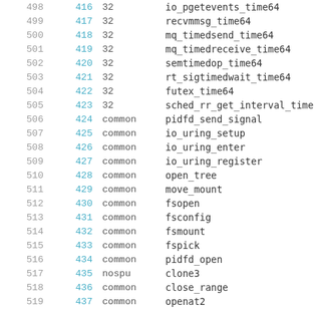| line | num | abi | name |
| --- | --- | --- | --- |
| 498 | 416 | 32 | io_pgetevents_time64 |
| 499 | 417 | 32 | recvmmsg_time64 |
| 500 | 418 | 32 | mq_timedsend_time64 |
| 501 | 419 | 32 | mq_timedreceive_time64 |
| 502 | 420 | 32 | semtimedop_time64 |
| 503 | 421 | 32 | rt_sigtimedwait_time64 |
| 504 | 422 | 32 | futex_time64 |
| 505 | 423 | 32 | sched_rr_get_interval_time64 |
| 506 | 424 | common | pidfd_send_signal |
| 507 | 425 | common | io_uring_setup |
| 508 | 426 | common | io_uring_enter |
| 509 | 427 | common | io_uring_register |
| 510 | 428 | common | open_tree |
| 511 | 429 | common | move_mount |
| 512 | 430 | common | fsopen |
| 513 | 431 | common | fsconfig |
| 514 | 432 | common | fsmount |
| 515 | 433 | common | fspick |
| 516 | 434 | common | pidfd_open |
| 517 | 435 | nospu | clone3 |
| 518 | 436 | common | close_range |
| 519 | 437 | common | openat2 |